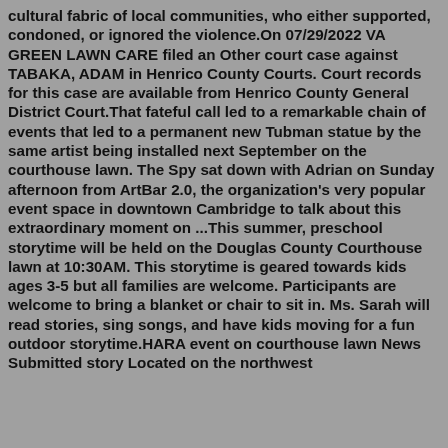cultural fabric of local communities, who either supported, condoned, or ignored the violence.On 07/29/2022 VA GREEN LAWN CARE filed an Other court case against TABAKA, ADAM in Henrico County Courts. Court records for this case are available from Henrico County General District Court.That fateful call led to a remarkable chain of events that led to a permanent new Tubman statue by the same artist being installed next September on the courthouse lawn. The Spy sat down with Adrian on Sunday afternoon from ArtBar 2.0, the organization's very popular event space in downtown Cambridge to talk about this extraordinary moment on ...This summer, preschool storytime will be held on the Douglas County Courthouse lawn at 10:30AM. This storytime is geared towards kids ages 3-5 but all families are welcome. Participants are welcome to bring a blanket or chair to sit in. Ms. Sarah will read stories, sing songs, and have kids moving for a fun outdoor storytime.HARA event on courthouse lawn News Submitted story Located on the northwest